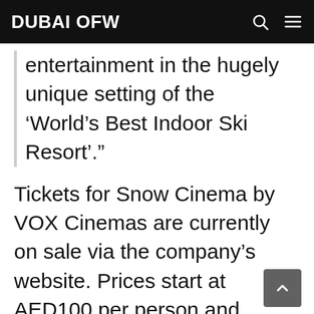DUBAI OFW
entertainment in the hugely unique setting of the ‘World’s Best Indoor Ski Resort’.”
Tickets for Snow Cinema by VOX Cinemas are currently on sale via the company’s website. Prices start at AED100 per person and include a cinema ticket and F&B package consisting of a signature hot chocolate, popcorn and bottle of